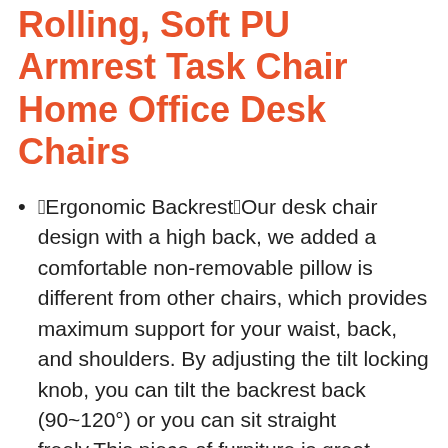Rolling, Soft PU Armrest Task Chair Home Office Desk Chairs
🔲Ergonomic Backrest🔲Our desk chair design with a high back, we added a comfortable non-removable pillow is different from other chairs, which provides maximum support for your waist, back, and shoulders. By adjusting the tilt locking knob, you can tilt the backrest back (90~120°) or you can sit straight freely.This piece of furniture is great